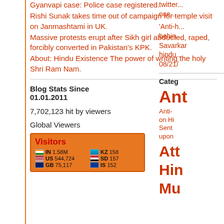Gyanvapi case: Police case registered.
Rishi Sunak takes time out of campaign for temple visit on Janmashtami in UK.
Massive protests erupt after Sikh girl abducted, raped, forcibly converted in Pakistan's KPK.
About: Hindu Existence The power of writing the holy Shri Ram Nam.
Blog Stats Since 01.01.2011
7,702,123 hit by viewers
Global Viewers
[Figure (infographic): Visitor widget showing country flags and visitor counts: IN 1.58M, US 544,724, GB 75,117, KZ 158, SD 157, IS 152]
twitter...nce...
'Anti-h... behind Savarkar hindu... 08/21/
Categ
Ant
Anti- on Hi Sent upon
Att
Hin
Mu